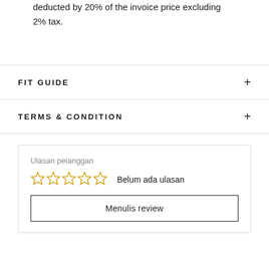deducted by 20% of the invoice price excluding 2% tax.
FIT GUIDE
TERMS & CONDITION
Ulasan pelanggan
Belum ada ulasan
Menulis review